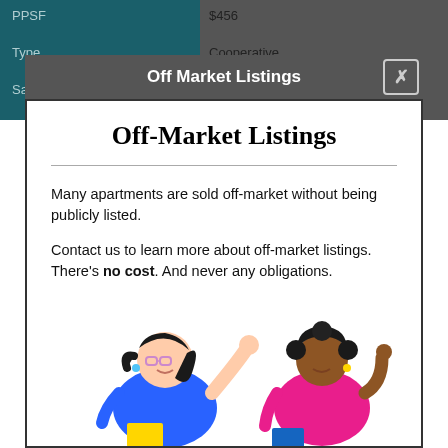PPSF $456 | Type Cooperative | Sale/Rent Sale
Off Market Listings
Off-Market Listings
Many apartments are sold off-market without being publicly listed.
Contact us to learn more about off-market listings. There's no cost. And never any obligations.
[Figure (illustration): Two cartoon women talking: one in a blue outfit with a ponytail, one in a pink top with curly hair, suggesting a conversation about real estate listings.]